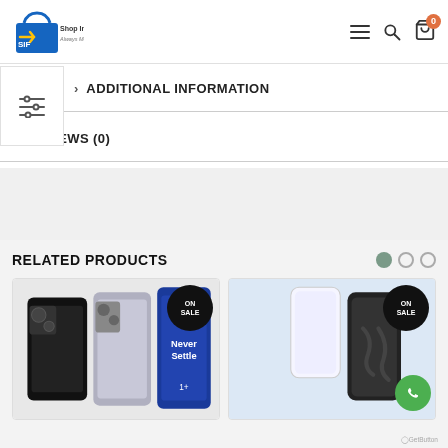[Figure (screenshot): Shop In Factory website header with logo, search icon, cart icon showing 0, and hamburger menu icon]
ADDITIONAL INFORMATION
REVIEWS (0)
RELATED PRODUCTS
[Figure (photo): OnePlus smartphone product image with ON SALE badge]
[Figure (photo): Phone case product image with ON SALE badge]